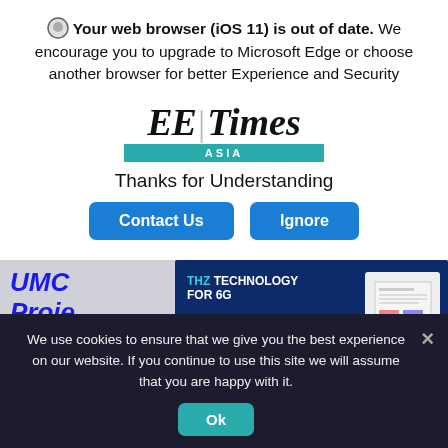Your web browser (iOS 11) is out of date. We encourage you to upgrade to Microsoft Edge or choose another browser for better Experience and Security
[Figure (logo): EE Times Asia logo with teal ASIA bar]
Thanks for Understanding
Contact Us   Ignore
[Figure (screenshot): Partially visible background page showing article about UMC project and THz Technology for 6G advertisement banner with Download Now button]
We use cookies to ensure that we give you the best experience on our website. If you continue to use this site we will assume that you are happy with it.
Ok